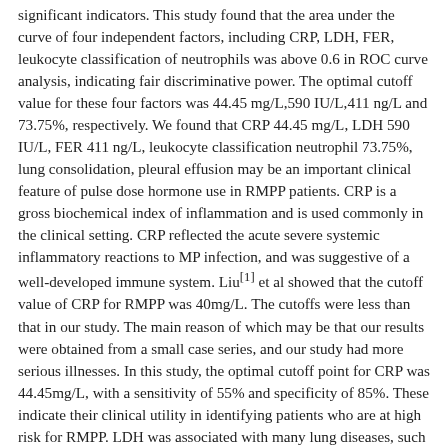significant indicators. This study found that the area under the curve of four independent factors, including CRP, LDH, FER, leukocyte classification of neutrophils was above 0.6 in ROC curve analysis, indicating fair discriminative power. The optimal cutoff value for these four factors was 44.45 mg/L,590 IU/L,411 ng/L and 73.75%, respectively. We found that CRP 44.45 mg/L, LDH 590 IU/L, FER 411 ng/L, leukocyte classification neutrophil 73.75%, lung consolidation, pleural effusion may be an important clinical feature of pulse dose hormone use in RMPP patients. CRP is a gross biochemical index of inflammation and is used commonly in the clinical setting. CRP reflected the acute severe systemic inflammatory reactions to MP infection, and was suggestive of a well-developed immune system. Liu[1] et al showed that the cutoff value of CRP for RMPP was 40mg/L. The cutoffs were less than that in our study. The main reason of which may be that our results were obtained from a small case series, and our study had more serious illnesses. In this study, the optimal cutoff point for CRP was 44.45mg/L, with a sensitivity of 55% and specificity of 85%. These indicate their clinical utility in identifying patients who are at high risk for RMPP. LDH was associated with many lung diseases, such as obstructive and interstitial lung diseases [46, 47]. Several studies [1, 11, 13, 48] also found that serum LDH was elevated in RMPP. In our study, we found that the area under the curve of LDH was 0.611 in ROC curve analysis, showing fair discriminative power. The optimal cutoff for LDH was 590IU/L,